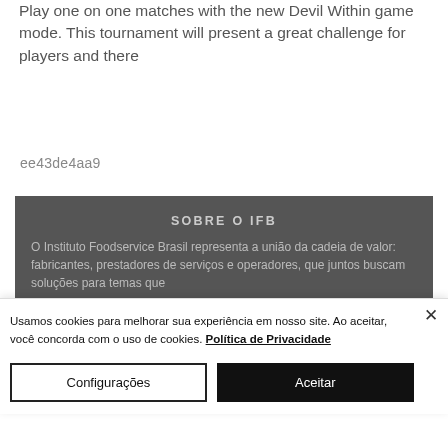Play one on one matches with the new Devil Within game mode. This tournament will present a great challenge for players and there
ee43de4aa9
SOBRE O IFB
O Instituto Foodservice Brasil representa a união da cadeia de valor: fabricantes, prestadores de serviços e operadores, que juntos buscam soluções para temas que
Usamos cookies para melhorar sua experiência em nosso site. Ao aceitar, você concorda com o uso de cookies. Política de Privacidade
Configurações
Aceitar